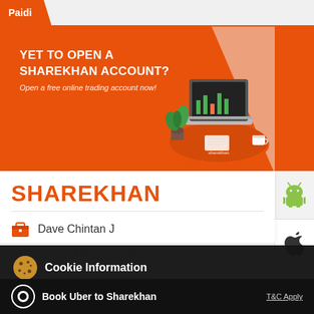Paidi
[Figure (illustration): Illustration of a laptop on a red circular table with plant and coffee cup, representing online trading account]
YET TO OPEN A SHAREKHAN ACCOUNT?
Open a free online trading account now!
[Figure (logo): Android robot icon (green)]
[Figure (logo): Apple logo icon]
SHAREKHAN
Dave Chintan J
No 2. Chitrakoot Parijat Apartment
Paidi
Ahmedabad - 380007
Cookie Information
On our website, we use services (including from third-party providers) that help us to improve our online presence (optimization of website) and to display content that is geared to their interests. We need your consent before being able to use these services.
Book Uber to Sharekhan
T&C Apply